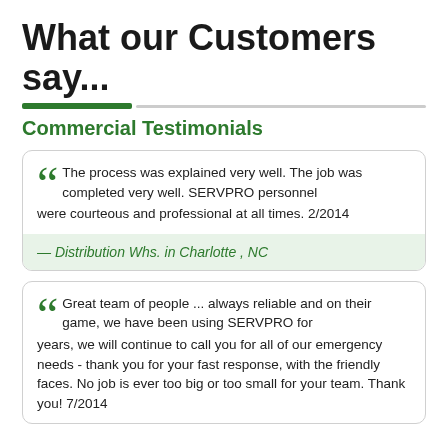What our Customers say...
Commercial Testimonials
The process was explained very well. The job was completed very well. SERVPRO personnel were courteous and professional at all times. 2/2014
— Distribution Whs. in Charlotte , NC
Great team of people ... always reliable and on their game, we have been using SERVPRO for years, we will continue to call you for all of our emergency needs - thank you for your fast response, with the friendly faces. No job is ever too big or too small for your team. Thank you! 7/2014